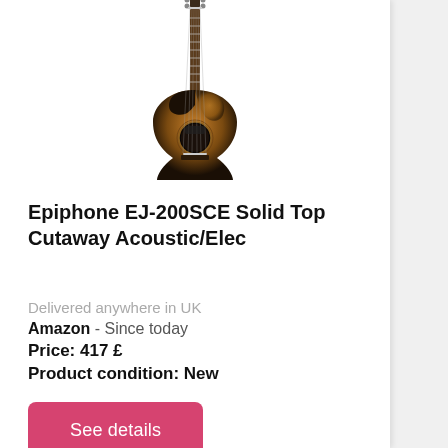[Figure (photo): Epiphone EJ-200SCE acoustic/electric guitar in sunburst finish, cutaway body style, shown from the front against white background]
Epiphone EJ-200SCE Solid Top Cutaway Acoustic/Elec
Delivered anywhere in UK
Amazon  - Since today
Price: 417 £
Product condition: New